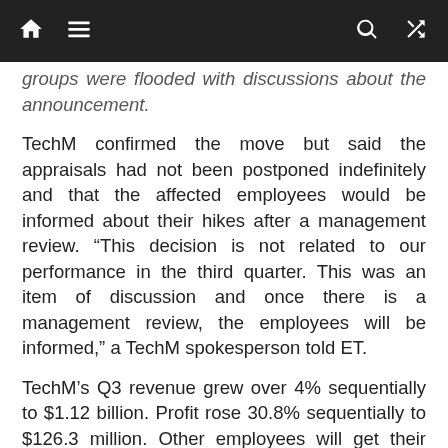[navigation bar with home, menu, search, shuffle icons]
groups were flooded with discussions about the announcement.
TechM confirmed the move but said the appraisals had not been postponed indefinitely and that the affected employees would be informed about their hikes after a management review. “This decision is not related to our performance in the third quarter. This was an item of discussion and once there is a management review, the employees will be informed,” a TechM spokesperson told ET.
TechM’s Q3 revenue grew over 4% sequentially to $1.12 billion. Profit rose 30.8% sequentially to $126.3 million. Other employees will get their compensation revision letter in March but their